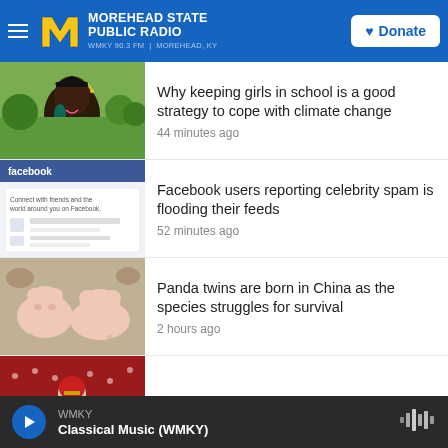MOREHEAD STATE PUBLIC RADIO — WMKY 90.3 FM | MOREHEAD, KY
Why keeping girls in school is a good strategy to cope with climate change — 44 minutes ago
Facebook users reporting celebrity spam is flooding their feeds — 52 minutes ago
Panda twins are born in China as the species struggles for survival — 2 hours ago
Len Dawson, Kansas City Chiefs...
WMKY — Classical Music (WMKY)